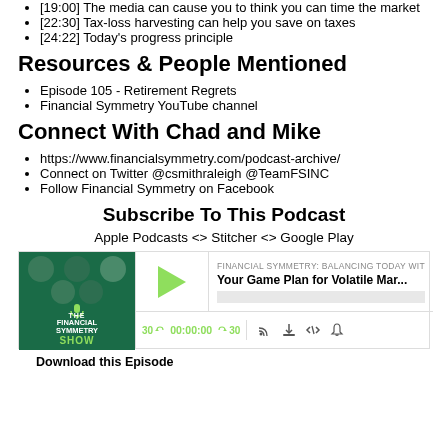[19:00] The media can cause you to think you can time the market
[22:30] Tax-loss harvesting can help you save on taxes
[24:22] Today's progress principle
Resources & People Mentioned
Episode 105 - Retirement Regrets
Financial Symmetry YouTube channel
Connect With Chad and Mike
https://www.financialsymmetry.com/podcast-archive/
Connect on Twitter @csmithraleigh @TeamFSINC
Follow Financial Symmetry on Facebook
Subscribe To This Podcast
Apple Podcasts <> Stitcher <> Google Play
[Figure (screenshot): Podcast player widget for 'Your Game Plan for Volatile Mar...' episode of Financial Symmetry: Balancing Today with Tomorrow show, with play button, progress bar, time 00:00:00, and control icons.]
Download this Episode